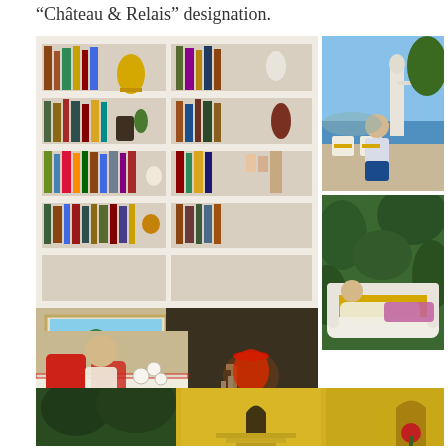“Château & Relais” designation.
[Figure (photo): Interior library/sitting room with white built-in bookshelves filled with books and decorative objects. A woman with blonde hair sits on a cream sofa with red pillows. A landscape painting hangs on the wall. White orchids on a table with a red lamp.]
[Figure (photo): Man standing on a terrace or outdoor area with a white marble statue behind him, overlooking a coastal landscape. Blue sky and sea visible in background.]
[Figure (photo): Woman with blonde hair reclining on a white outdoor daybed/lounger with yellow cushion, surrounded by lush green garden foliage.]
[Figure (photo): Exterior view of a yellow Mediterranean villa or chateau with arched doorways, stone steps, and lush green trees. Bright sunlight.]